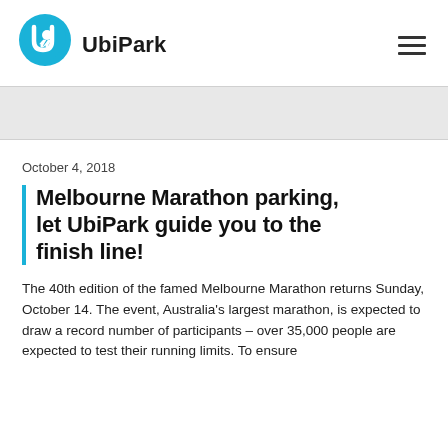UbiPark
[Figure (other): Gray banner/placeholder image area]
October 4, 2018
Melbourne Marathon parking, let UbiPark guide you to the finish line!
The 40th edition of the famed Melbourne Marathon returns Sunday, October 14. The event, Australia's largest marathon, is expected to draw a record number of participants – over 35,000 people are expected to test their running limits. To ensure